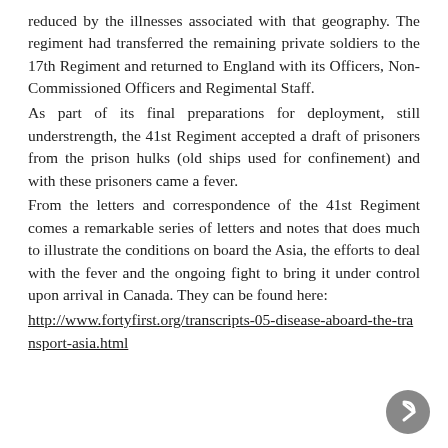reduced by the illnesses associated with that geography. The regiment had transferred the remaining private soldiers to the 17th Regiment and returned to England with its Officers, Non-Commissioned Officers and Regimental Staff.
As part of its final preparations for deployment, still understrength, the 41st Regiment accepted a draft of prisoners from the prison hulks (old ships used for confinement) and with these prisoners came a fever.
From the letters and correspondence of the 41st Regiment comes a remarkable series of letters and notes that does much to illustrate the conditions on board the Asia, the efforts to deal with the fever and the ongoing fight to bring it under control upon arrival in Canada. They can be found here:
http://www.fortyfirst.org/transcripts-05-disease-aboard-the-transport-asia.html